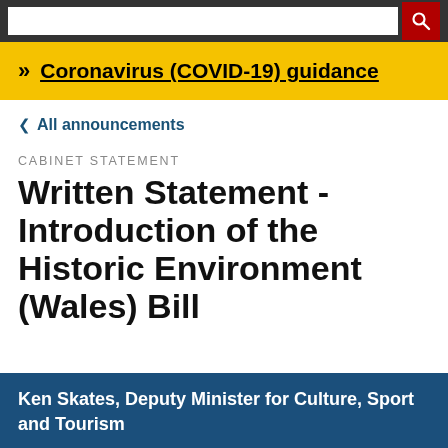[Search bar and navigation]
Coronavirus (COVID-19) guidance
< All announcements
CABINET STATEMENT
Written Statement - Introduction of the Historic Environment (Wales) Bill
Ken Skates, Deputy Minister for Culture, Sport and Tourism